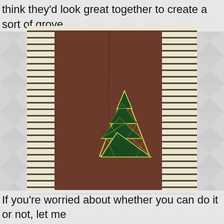think they'd look great together to create a sort of grove.
[Figure (photo): A dark-stained wooden board with a string art Christmas tree design made of dark green and yellow-green thread, placed in front of stacked book pages as background.]
If you're worried about whether you can do it or not, let me